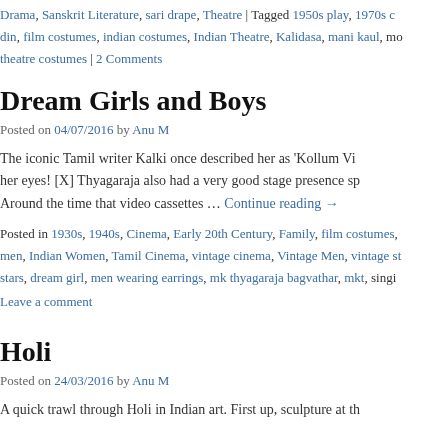Drama, Sanskrit Literature, sari drape, Theatre | Tagged 1950s play, 1970s c din, film costumes, indian costumes, Indian Theatre, Kalidasa, mani kaul, mo theatre costumes | 2 Comments
Dream Girls and Boys
Posted on 04/07/2016 by Anu M
The iconic Tamil writer Kalki once described her as ‘Kollum Vi her eyes! [X] Thyagaraja also had a very good stage presence sp Around the time that video cassettes … Continue reading →
Posted in 1930s, 1940s, Cinema, Early 20th Century, Family, film costumes, men, Indian Women, Tamil Cinema, vintage cinema, Vintage Men, vintage st stars, dream girl, men wearing earrings, mk thyagaraja bagvathar, mkt, singi Leave a comment
Holi
Posted on 24/03/2016 by Anu M
A quick trawl through Holi in Indian art. First up, sculpture at th